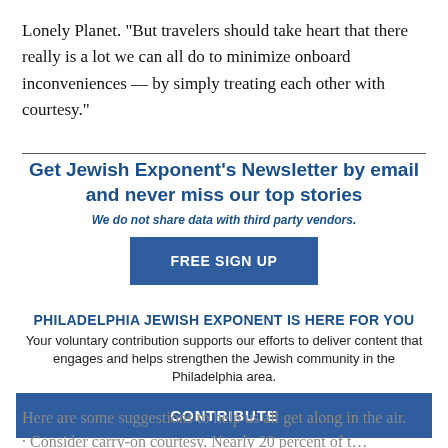Lonely Planet. "But travelers should take heart that there really is a lot we can all do to minimize onboard inconveniences — by simply treating each other with courtesy."
Get Jewish Exponent's Newsletter by email and never miss our top stories
We do not share data with third party vendors.
FREE SIGN UP
PHILADELPHIA JEWISH EXPONENT IS HERE FOR YOU
Your voluntary contribution supports our efforts to deliver content that engages and helps strengthen the Jewish community in the Philadelphia area.
CONTRIBUTE
Here are some suggestions to help us all get along in the air.
· Consider carry-on courtesy. Nearly 20 percent of those surveyed admitted to bringing extra carry-on luggage b...